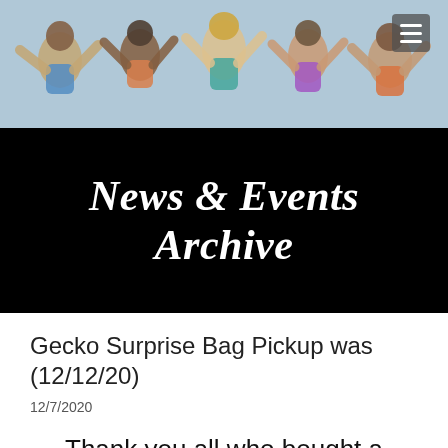[Figure (illustration): Colorful mural or illustration of children with arms raised, serving as website header background image]
News & Events Archive
Gecko Surprise Bag Pickup was (12/12/20)
12/7/2020
Thank you all who bought a Gecko